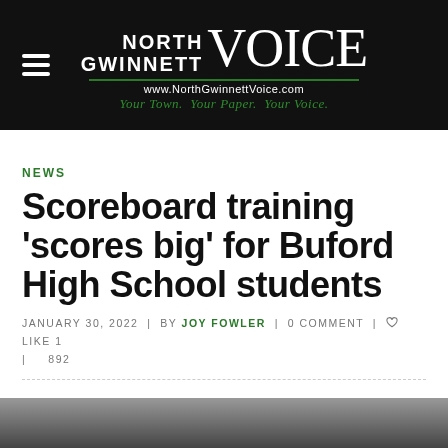[Figure (logo): North Gwinnett Voice newspaper logo with hamburger menu icon on black background. URL www.NorthGwinnettVoice.com and tagline 'Your Town. Your Paper. Your Voice.']
NEWS
Scoreboard training 'scores big' for Buford High School students
JANUARY 30, 2022 | BY JOY FOWLER | 0 COMMENT | LIKE 1 | 892
[Figure (photo): Partial photo at bottom of page, partially cut off, appears to show students in a classroom or training setting]